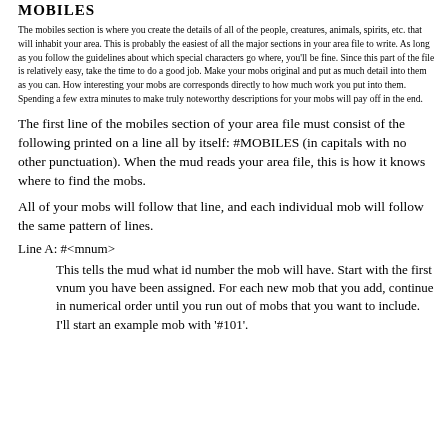MOBILES
The mobiles section is where you create the details of all of the people, creatures, animals, spirits, etc. that will inhabit your area. This is probably the easiest of all the major sections in your area file to write. As long as you follow the guidelines about which special characters go where, you'll be fine. Since this part of the file is relatively easy, take the time to do a good job. Make your mobs original and put as much detail into them as you can. How interesting your mobs are corresponds directly to how much work you put into them. Spending a few extra minutes to make truly noteworthy descriptions for your mobs will pay off in the end.
The first line of the mobiles section of your area file must consist of the following printed on a line all by itself: #MOBILES (in capitals with no other punctuation). When the mud reads your area file, this is how it knows where to find the mobs.
All of your mobs will follow that line, and each individual mob will follow the same pattern of lines.
Line A: #<mnum>
This tells the mud what id number the mob will have. Start with the first vnum you have been assigned. For each new mob that you add, continue in numerical order until you run out of mobs that you want to include. I'll start an example mob with '#101'.